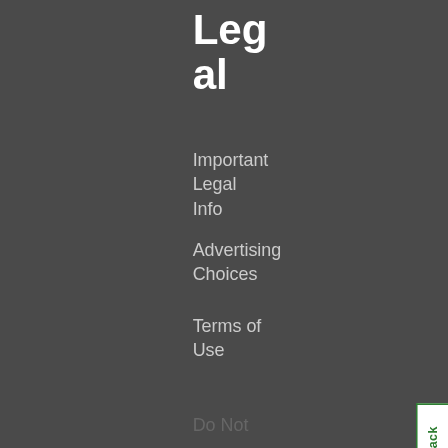Legal
Important Legal Info
Advertising Choices
Terms of Use
Do Not Sell My Personal Information
Privacy Policy
Cookie policy
We use cookies to enhance and personalize your experience. If you accept you agree to our full cookie policy. Learn more about our cookies.
Accept cookies
Deny all
Cookie settings
Lear